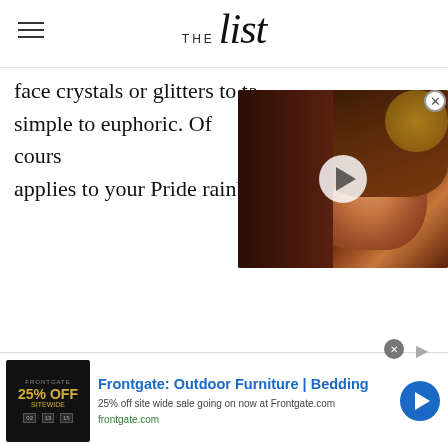THE list
face crystals or glitters to ta... simple to euphoric. Of cours... applies to your Pride rainbo...
[Figure (photo): Video thumbnail showing a woman with long brown hair smiling, wearing earrings, with a play button overlay. Appears to be a celebrity/entertainment video player on The List website.]
[Figure (screenshot): Advertisement banner for Frontgate: Outdoor Furniture and Bedding. Shows '25% OFF SITEWIDE' promotion with countdown timer. Ad text: 'Frontgate: Outdoor Furniture | Bedding', '25% off site wide sale going on now at Frontgate.com', 'frontgate.com']